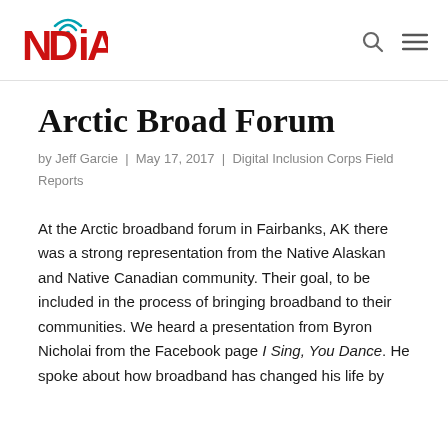[Figure (logo): NDIA logo with red bold text 'NDiA' and teal wifi signal icon above the 'i']
Arctic Broad Forum
by Jeff Garcie | May 17, 2017 | Digital Inclusion Corps Field Reports
At the Arctic broadband forum in Fairbanks, AK there was a strong representation from the Native Alaskan and Native Canadian community. Their goal, to be included in the process of bringing broadband to their communities. We heard a presentation from Byron Nicholai from the Facebook page I Sing, You Dance. He spoke about how broadband has changed his life by